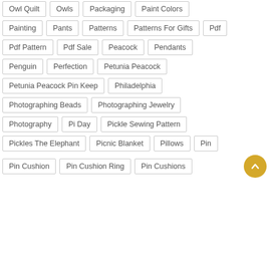Owl Quilt
Owls
Packaging
Paint Colors
Painting
Pants
Patterns
Patterns For Gifts
Pdf
Pdf Pattern
Pdf Sale
Peacock
Pendants
Penguin
Perfection
Petunia Peacock
Petunia Peacock Pin Keep
Philadelphia
Photographing Beads
Photographing Jewelry
Photography
Pi Day
Pickle Sewing Pattern
Pickles The Elephant
Picnic Blanket
Pillows
Pin
Pin Cushion
Pin Cushion Ring
Pin Cushions